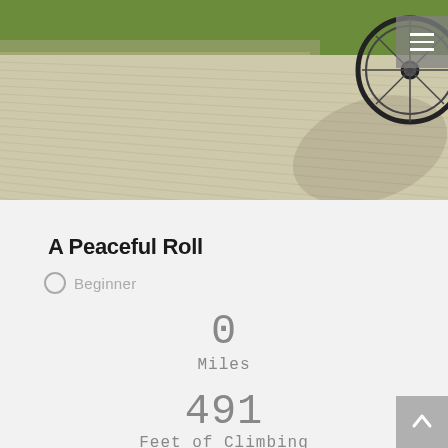[Figure (photo): A bicycle parked on a textured paved path with green grass curb visible in the upper left. The pavement surface has a ribbed/hatched texture. The photo is taken from a low angle showing the bicycle wheel and shadow.]
A Peaceful Roll
Beginner
0
Miles
491
Feet of Climbing